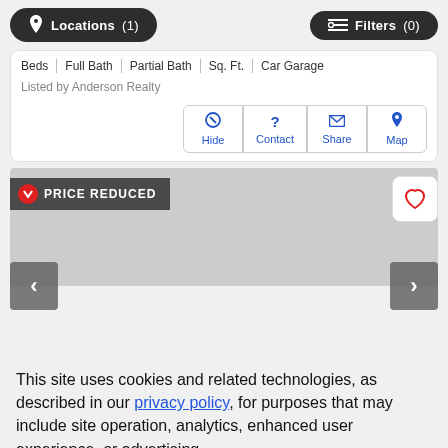[Figure (screenshot): Top navigation bar with 'Locations (1)' and 'Filters (0)' buttons on dark rounded backgrounds]
Beds | Full Bath | Partial Bath | Sq. Ft. | Car Garage
Listed by Anderson Realty
[Figure (screenshot): Action buttons: Hide, Contact, Share, Map in blue with icons]
[Figure (screenshot): PRICE REDUCED badge in dark background with red down-arrow icon, heart favorite button, left/right navigation arrows on gray image area]
This site uses cookies and related technologies, as described in our privacy policy, for purposes that may include site operation, analytics, enhanced user experience, or advertising.
Manage Preferences
Accept